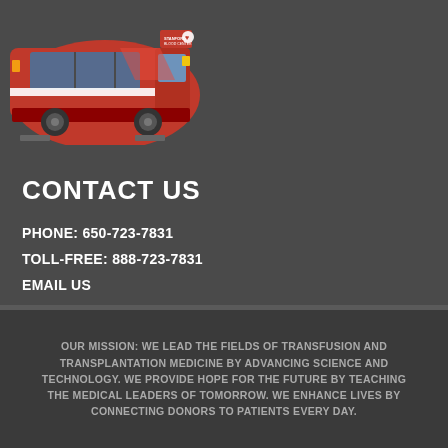[Figure (illustration): Stanford Blood Center branded red bus/vehicle illustration with logo on side]
CONTACT US
PHONE: 650-723-7831
TOLL-FREE: 888-723-7831
EMAIL US
OUR MISSION: WE LEAD THE FIELDS OF TRANSFUSION AND TRANSPLANTATION MEDICINE BY ADVANCING SCIENCE AND TECHNOLOGY. WE PROVIDE HOPE FOR THE FUTURE BY TEACHING THE MEDICAL LEADERS OF TOMORROW. WE ENHANCE LIVES BY CONNECTING DONORS TO PATIENTS EVERY DAY.